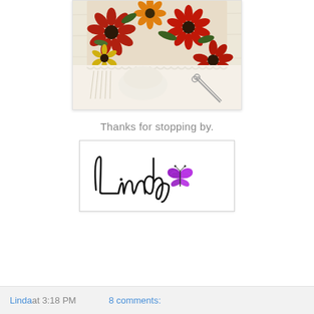[Figure (photo): Floral fabric or quilt with red, orange, and yellow daisy-like flowers on a white/cream background, placed on a white wooden surface with lace and scissors visible below]
Thanks for stopping by.
[Figure (illustration): Signature reading 'Linda' in decorative cursive script with a purple butterfly graphic accent]
Linda at 3:18 PM    8 comments: